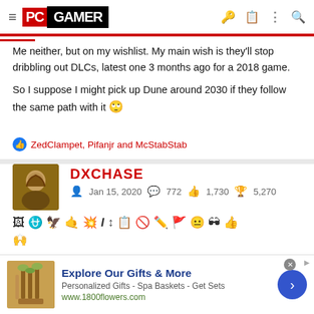PC GAMER
Me neither, but on my wishlist. My main wish is they'll stop dribbling out DLCs, latest one 3 months ago for a 2018 game.
So I suppose I might pick up Dune around 2030 if they follow the same path with it 🙄
👍 ZedClampet, Pifanjr and McStabStab
DXCHASE
Jan 15, 2020  772  1,730  5,270
[Figure (screenshot): User toolbar with formatting and action icons]
Explore Our Gifts & More
Personalized Gifts - Spa Baskets - Get Sets
www.1800flowers.com